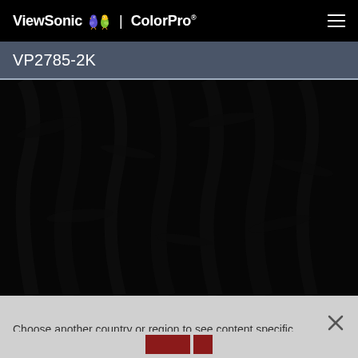ViewSonic | ColorPro
VP2785-2K
[Figure (photo): Dark background image showing what appears to be foliage or natural texture in very low light, almost entirely black]
Choose another country or region to see content specific